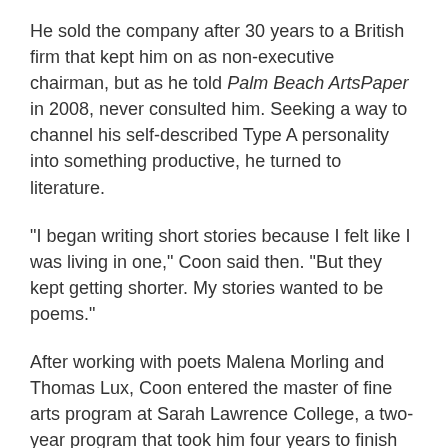He sold the company after 30 years to a British firm that kept him on as non-executive chairman, but as he told Palm Beach ArtsPaper in 2008, never consulted him. Seeking a way to channel his self-described Type A personality into something productive, he turned to literature.
"I began writing short stories because I felt like I was living in one," Coon said then. "But they kept getting shorter. My stories wanted to be poems."
After working with poets Malena Morling and Thomas Lux, Coon entered the master of fine arts program at Sarah Lawrence College, a two-year program that took him four years to finish because he took time off for winters at his home on Palm Beach.